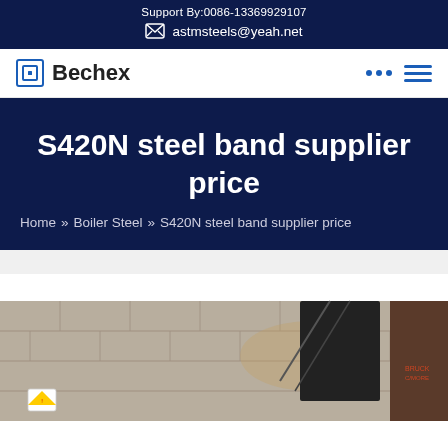Support By:0086-13369929107
astmsteels@yeah.net
Bechex
S420N steel band supplier price
Home » Boiler Steel » S420N steel band supplier price
[Figure (photo): Exterior wall of an industrial steel building with weathering, a dark doorway, and construction/safety signage visible at bottom left]